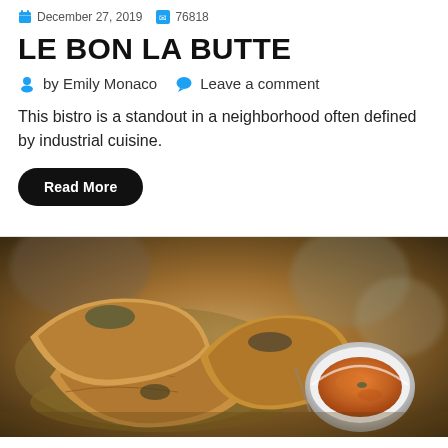December 27, 2019   76818
LE BON LA BUTTE
by Emily Monaco   Leave a comment
This bistro is a standout in a neighborhood often defined by industrial cuisine.
Read More
[Figure (photo): Close-up photo of fried food (possibly fried ravioli or pastry) in a bowl, with a small white ramekin containing orange dipping sauce on the right side, warm restaurant lighting ambiance.]